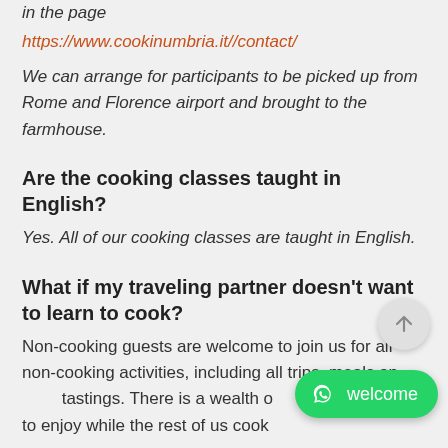in the page
https://www.cookinumbria.it//contact/
We can arrange for participants to be picked up from Rome and Florence airport and brought to the farmhouse.
Are the cooking classes taught in English?
Yes. All of our cooking classes are taught in English.
What if my traveling partner doesn't want to learn to cook?
Non-cooking guests are welcome to join us for all non-cooking activities, including all trips, meals and tastings. There is a wealth of to enjoy while the rest of us cook